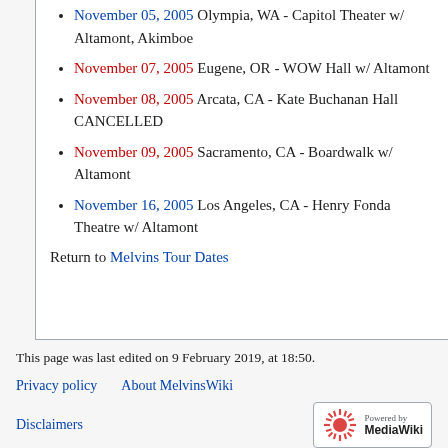November 05, 2005 Olympia, WA - Capitol Theater w/ Altamont, Akimboe
November 07, 2005 Eugene, OR - WOW Hall w/ Altamont
November 08, 2005 Arcata, CA - Kate Buchanan Hall CANCELLED
November 09, 2005 Sacramento, CA - Boardwalk w/ Altamont
November 16, 2005 Los Angeles, CA - Henry Fonda Theatre w/ Altamont
Return to Melvins Tour Dates
This page was last edited on 9 February 2019, at 18:50.
Privacy policy   About MelvinsWiki
Disclaimers